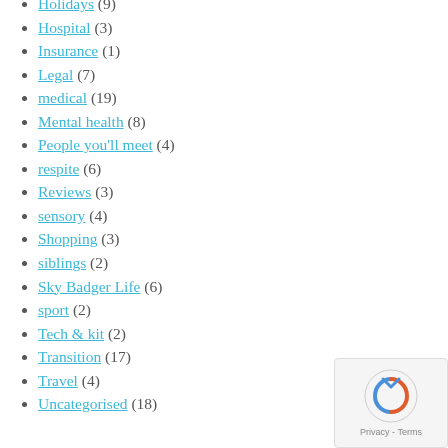Holidays (9)
Hospital (3)
Insurance (1)
Legal (7)
medical (19)
Mental health (8)
People you'll meet (4)
respite (6)
Reviews (3)
sensory (4)
Shopping (3)
siblings (2)
Sky Badger Life (6)
sport (2)
Tech & kit (2)
Transition (17)
Travel (4)
Uncategorised (18)